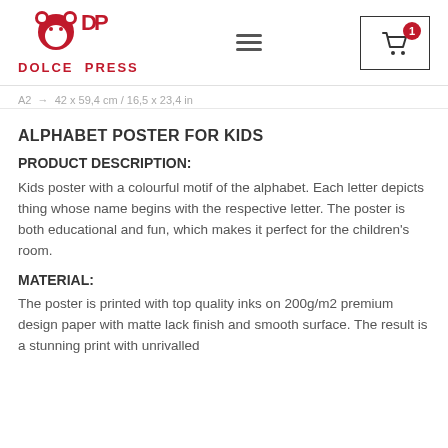DOLCE PRESS
A2 → 42 x 59,4 cm / 16,5 x 23,4 in
ALPHABET POSTER FOR KIDS
PRODUCT DESCRIPTION:
Kids poster with a colourful motif of the alphabet. Each letter depicts thing whose name begins with the respective letter. The poster is both educational and fun, which makes it perfect for the children's room.
MATERIAL:
The poster is printed with top quality inks on 200g/m2 premium design paper with matte lack finish and smooth surface. The result is a stunning print with unrivalled